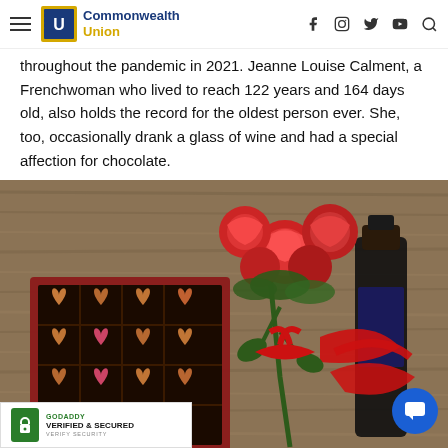Commonwealth Union — navigation bar with hamburger menu, logo, and social icons (f, Instagram, Twitter, YouTube, Search)
throughout the pandemic in 2021. Jeanne Louise Calment, a Frenchwoman who lived to reach 122 years and 164 days old, also holds the record for the oldest person ever. She, too, occasionally drank a glass of wine and had a special affection for chocolate.
[Figure (photo): Overhead view on a wooden table showing a box of heart-shaped chocolates (brown and pink), a bouquet of red roses tied with a red ribbon, and a dark wine bottle, all arranged together.]